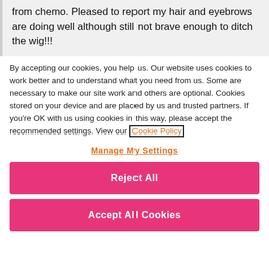from chemo. Pleased to report my hair and eyebrows are doing well although still not brave enough to ditch the wig!!!
By accepting our cookies, you help us. Our website uses cookies to work better and to understand what you need from us. Some are necessary to make our site work and others are optional. Cookies stored on your device and are placed by us and trusted partners. If you're OK with us using cookies in this way, please accept the recommended settings. View our Cookie Policy
Manage My Settings
Reject All
Accept All Cookies